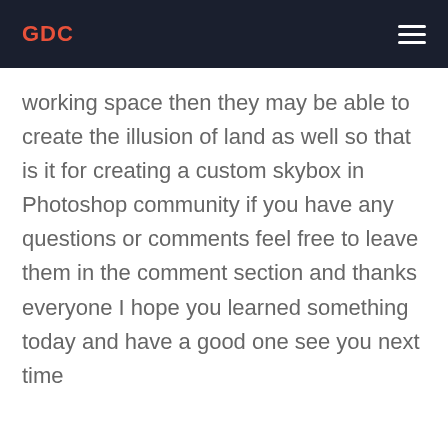GDC
working space then they may be able to create the illusion of land as well so that is it for creating a custom skybox in Photoshop community if you have any questions or comments feel free to leave them in the comment section and thanks everyone I hope you learned something today and have a good one see you next time